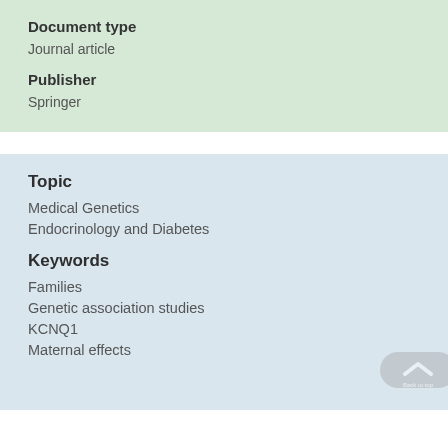Document type
Journal article
Publisher
Springer
Topic
Medical Genetics
Endocrinology and Diabetes
Keywords
Families
Genetic association studies
KCNQ1
Maternal effects